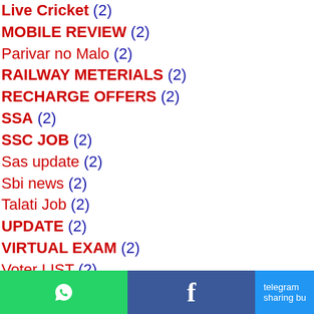Live Cricket (2)
MOBILE REVIEW (2)
Parivar no Malo (2)
RAILWAY METERIALS (2)
RECHARGE OFFERS (2)
SSA (2)
SSC JOB (2)
Sas update (2)
Sbi news (2)
Talati Job (2)
UPDATE (2)
VIRTUAL EXAM (2)
Voter LIST (2)
Weather (2)
old paper (2)
online badali (2)
teacher traNSFER (2)
WhatsApp | Facebook | telegram sharing bu